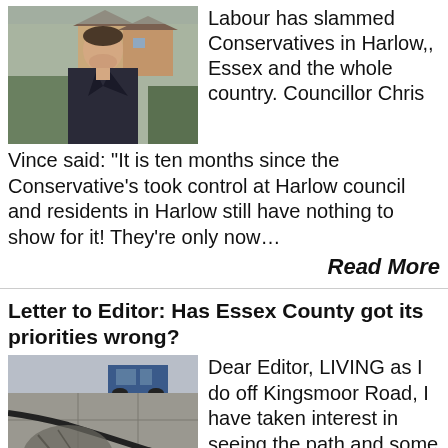[Figure (photo): Man in dark suit standing outdoors in front of houses]
Labour has slammed Conservatives in Harlow,, Essex and the whole country. Councillor Chris Vince said: “It is ten months since the Conservative’s took control at Harlow council and residents in Harlow still have nothing to show for it!  They’re only now…
Read More
Letter to Editor: Has Essex County got its priorities wrong?
[Figure (photo): Damaged pavement and kerbstones along a road]
Dear Editor, LIVING as I do off Kingsmoor Road, I have taken interest in seeing the path and some of the kerbstones along most of one side of the